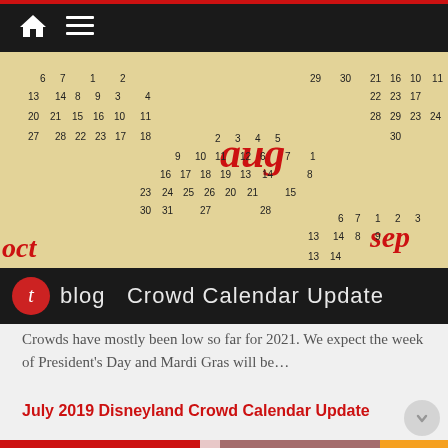[Figure (screenshot): Website navigation bar with home icon and hamburger menu on dark background]
[Figure (photo): Close-up of a physical calendar showing months including aug, sep, oct with printed dates]
[Figure (logo): Blog banner with red circle T logo and text 'blog Crowd Calendar Update' on black background]
Crowds have mostly been low so far for 2021. We expect the week of President's Day and Mardi Gras will be…
July 2019 Disneyland Crowd Calendar Update
[Figure (photo): Partial bottom image showing red and orange crowd calendar graphic with text 'Crowd' partially visible]